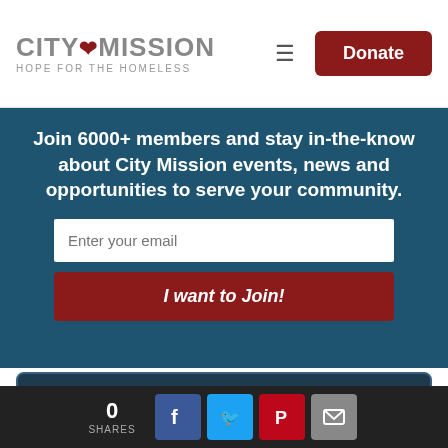CITY MISSION HOPE FOR THE HOMELESS | Donate
Join 6000+ members and stay in-the-know about City Mission events, news and opportunities to serve your community.
[Figure (screenshot): Email input field with placeholder text 'Enter your email']
I want to Join!
This website uses cookies to ensure you get the best experience on our website. Learn more
0 SHARES | Facebook | Twitter | Pinterest | Email